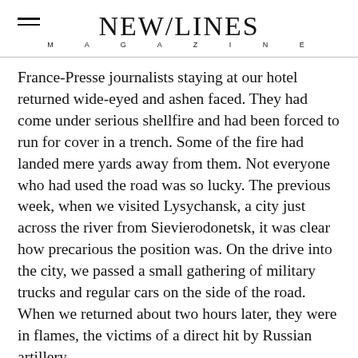NEW/LINES MAGAZINE
France-Presse journalists staying at our hotel returned wide-eyed and ashen faced. They had come under serious shellfire and had been forced to run for cover in a trench. Some of the fire had landed mere yards away from them. Not everyone who had used the road was so lucky. The previous week, when we visited Lysychansk, a city just across the river from Sievierodonetsk, it was clear how precarious the position was. On the drive into the city, we passed a small gathering of military trucks and regular cars on the side of the road. When we returned about two hours later, they were in flames, the victims of a direct hit by Russian artillery.
It is all the more credit to the extraordinary and